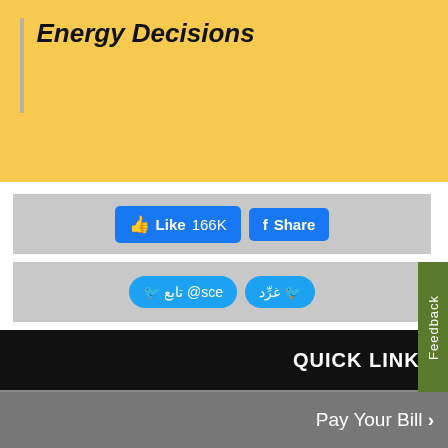Energy Decisions
[Figure (screenshot): Facebook Like (166K) and Share buttons]
[Figure (screenshot): Twitter Follow @sce and Retweet buttons in Arabic]
Share by Email
Print
Feedback
QUICK LINKS
Pay Your Bill >